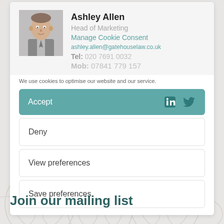[Figure (photo): Profile photo of Ashley Allen, a man in a suit with a light background]
Ashley Allen
Head of Marketing
ashley.allen@gatehouselaw.co.uk
Tel: 020 7691 0032
Mob: 07841 779 157
Manage Cookie Consent
We use cookies to optimise our website and our service.
Accept
Deny
View preferences
Save preferences
Join our mailing list